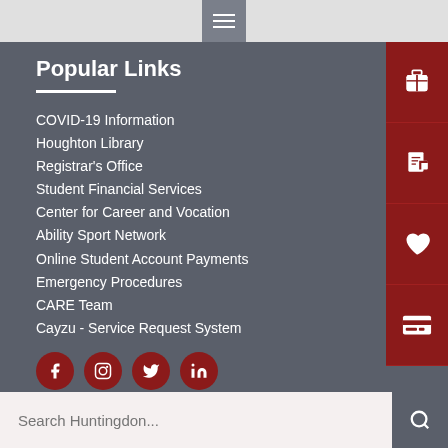Navigation menu button
Popular Links
COVID-19 Information
Houghton Library
Registrar's Office
Student Financial Services
Center for Career and Vocation
Ability Sport Network
Online Student Account Payments
Emergency Procedures
CARE Team
Cayzu - Service Request System
[Figure (illustration): Social media icons row: Facebook, Instagram, Twitter, LinkedIn]
webmaster@hawks.huntingdon.edu
Search Huntingdon...